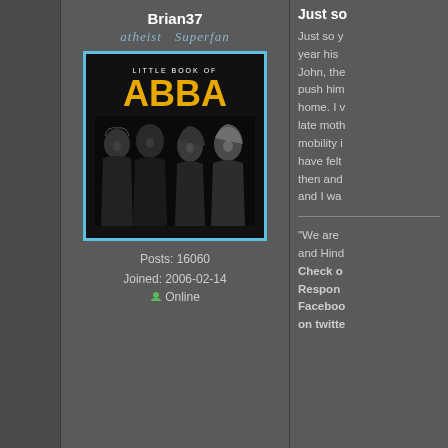Brian37
atheist Superfan
[Figure (photo): ABBA Little Book of ABBA album cover showing four band members in black and white with yellow ABBA text]
Posts: 16060
Joined: 2006-02-14
Online
Just so
Just so y year his John, the push him home. I v late moth mobility i have felt then and and I wa
"We are and Hind Check o Respon Faceboo on twitte